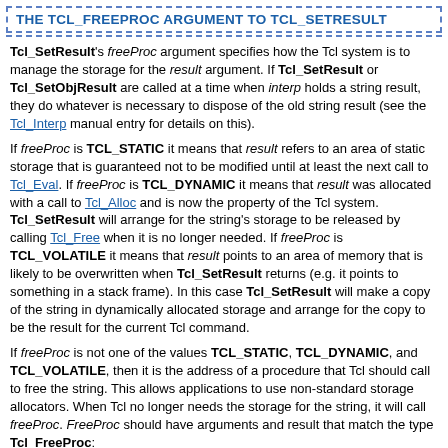THE TCL_FREEPROC ARGUMENT TO TCL_SETRESULT
Tcl_SetResult's freeProc argument specifies how the Tcl system is to manage the storage for the result argument. If Tcl_SetResult or Tcl_SetObjResult are called at a time when interp holds a string result, they do whatever is necessary to dispose of the old string result (see the Tcl_Interp manual entry for details on this).
If freeProc is TCL_STATIC it means that result refers to an area of static storage that is guaranteed not to be modified until at least the next call to Tcl_Eval. If freeProc is TCL_DYNAMIC it means that result was allocated with a call to Tcl_Alloc and is now the property of the Tcl system. Tcl_SetResult will arrange for the string's storage to be released by calling Tcl_Free when it is no longer needed. If freeProc is TCL_VOLATILE it means that result points to an area of memory that is likely to be overwritten when Tcl_SetResult returns (e.g. it points to something in a stack frame). In this case Tcl_SetResult will make a copy of the string in dynamically allocated storage and arrange for the copy to be the result for the current Tcl command.
If freeProc is not one of the values TCL_STATIC, TCL_DYNAMIC, and TCL_VOLATILE, then it is the address of a procedure that Tcl should call to free the string. This allows applications to use non-standard storage allocators. When Tcl no longer needs the storage for the string, it will call freeProc. FreeProc should have arguments and result that match the type Tcl_FreeProc: